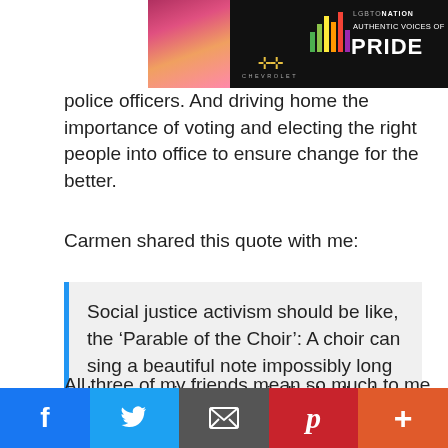[Figure (photo): LGBTQ Nation Chevrolet 'Authentic Voices of Pride' advertisement banner with a person in the left portion and colorful bar chart graphic, Chevrolet bowtie logo, and text 'LGBTONATION AUTHENTIC VOICES OF PRIDE']
police officers. And driving home the importance of voting and electing the right people into office to ensure change for the better.
Carmen shared this quote with me:
Social justice activism should be like, the ‘Parable of the Choir’: A choir can sing a beautiful note impossibly long because singers can individually drop out to breathe as necessary and the note goes on.
All three of my friends mean so much to me. We have all laughed, partied, and cried together
[Figure (screenshot): Social media sharing bar with Facebook, Twitter, Email, Pinterest, and More buttons]